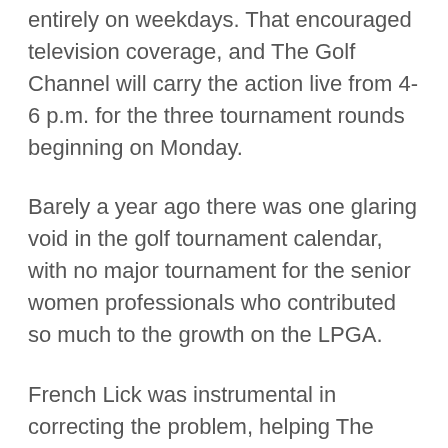entirely on weekdays. That encouraged television coverage, and The Golf Channel will carry the action live from 4-6 p.m. for the three tournament rounds beginning on Monday.
Barely a year ago there was one glaring void in the golf tournament calendar, with no major tournament for the senior women professionals who contributed so much to the growth on the LPGA.
French Lick was instrumental in correcting the problem, helping The Legends Tour put on its biggest tournament of the year for four years on the Pete Dye Course. The Legends Championship grew into the Senior LPGA Championship last year and it found a home on the Pete Dye Course as well.